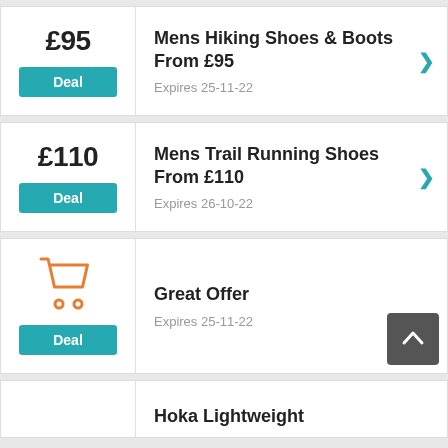£95
Deal
Mens Hiking Shoes & Boots From £95
Expires 25-11-22
£110
Deal
Mens Trail Running Shoes From £110
Expires 26-10-22
[Figure (illustration): Orange shopping cart icon]
Deal
Great Offer
Expires 25-11-22
Hoka Lightweight